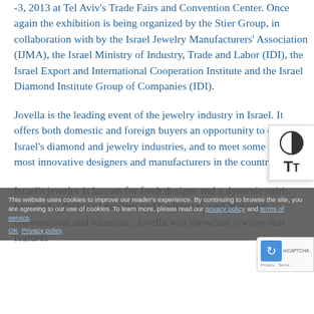-3, 2013 at Tel Aviv's Trade Fairs and Convention Center. Once again the exhibition is being organized by the Stier Group, in collaboration with by the Israel Jewelry Manufacturers' Association (IJMA), the Israel Ministry of Industry, Trade and Labor (IDI), the Israel Export and International Cooperation Institute and the Israel Diamond Institute Group of Companies (IDI).
Jovella is the leading event of the jewelry industry in Israel. It offers both domestic and foreign buyers an opportunity to explore Israel's diamond and jewelry industries, and to meet some of the most innovative designers and manufacturers in the country.
Israel's jewelry is known for fresh designs and a dynamic spirit, based on a fusion of modern and traditional, east and west, conventional and futuristic. Jovella will showcase jewelry that features
This website uses cookies to improve our reader's experience. By continuing to browse the site, you are agreeing to our use of cookies. To learn more, please read our privacy policy and terms of service. OK Privacy policy